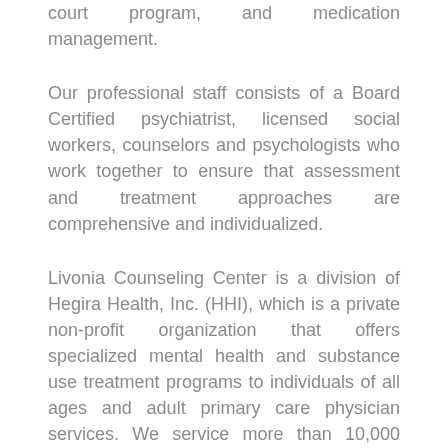court program, and medication management.
Our professional staff consists of a Board Certified psychiatrist, licensed social workers, counselors and psychologists who work together to ensure that assessment and treatment approaches are comprehensive and individualized.
Livonia Counseling Center is a division of Hegira Health, Inc. (HHI), which is a private non-profit organization that offers specialized mental health and substance use treatment programs to individuals of all ages and adult primary care physician services. We service more than 10,000 people each year through a comprehensive network of health clinics and behavioral health programs.